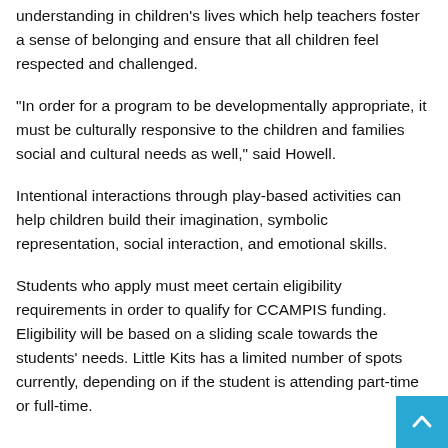understanding in children's lives which help teachers foster a sense of belonging and ensure that all children feel respected and challenged.
“In order for a program to be developmentally appropriate, it must be culturally responsive to the children and families social and cultural needs as well,” said Howell.
Intentional interactions through play-based activities can help children build their imagination, symbolic representation, social interaction, and emotional skills.
Students who apply must meet certain eligibility requirements in order to qualify for CCAMPIS funding. Eligibility will be based on a sliding scale towards the students’ needs. Little Kits has a limited number of spots currently, depending on if the student is attending part-time or full-time.